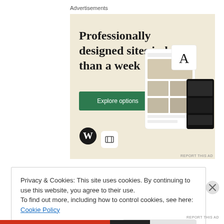Advertisements
[Figure (illustration): WordPress advertisement banner with beige background. Large serif text reads 'Professionally designed sites in less than a week'. A green button labeled 'Explore options'. WordPress logo (W circle) at bottom left. Mockup of website designs on right side including food photography website templates. Small icon boxes visible.]
REPORT THIS AD
Privacy & Cookies: This site uses cookies. By continuing to use this website, you agree to their use.
To find out more, including how to control cookies, see here: Cookie Policy
Close and accept